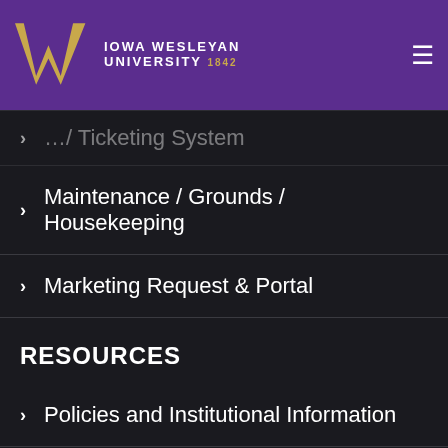[Figure (logo): Iowa Wesleyan University logo with purple background, gold W emblem, university name in white, and 1842 in gold]
… / Ticketing System
Maintenance / Grounds / Housekeeping
Marketing Request & Portal
RESOURCES
Policies and Institutional Information
Accreditation / Authorization
Consumer Information
Title IX Sexual Harassment and Safety